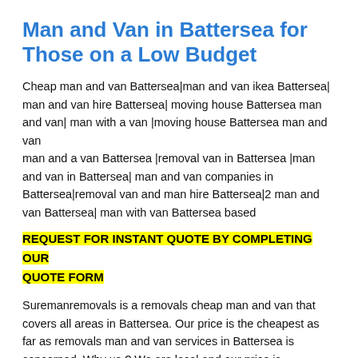Man and Van in Battersea for Those on a Low Budget
Cheap man and van Battersea|man and van ikea Battersea| man and van hire Battersea| moving house Battersea man and van| man with a van |moving house Battersea man and van
man and a van Battersea |removal van in Battersea |man and van in Battersea| man and van companies in Battersea|removal van and man hire Battersea|2 man and van Battersea| man with van Battersea based
REQUEST FOR INSTANT QUOTE BY COMPLETING OUR QUOTE FORM
Suremanremovals is a removals cheap man and van that covers all areas in Battersea. Our price is the cheapest as far as removals man and van services in Battersea is concerned. Why us ? We are local and our price is affordable...